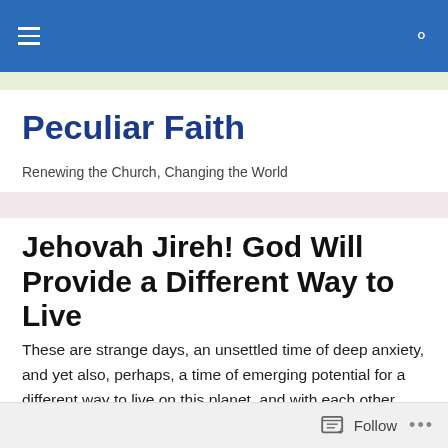Navigation header bar with hamburger menu and search icon
Peculiar Faith
Renewing the Church, Changing the World
Jehovah Jireh! God Will Provide a Different Way to Live
These are strange days, an unsettled time of deep anxiety, and yet also, perhaps, a time of emerging potential for a different way to live on this planet, and with each other, and with so many other creatures of the same God.
Follow